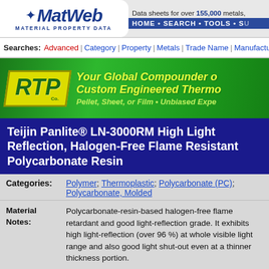MatWeb - MATERIAL PROPERTY DATA | Data sheets for over 155,000 metals, | HOME • SEARCH • TOOLS • SU
Searches: Advanced | Category | Property | Metals | Trade Name | Manufacturer | Recer
[Figure (logo): RTP Co. banner - Your Global Compounder of Custom Engineered Thermo... Pellet, Sheet, or Film • Unbiased Expe...]
Teijin Panlite® LN-3000RM High Light Reflection, Halogen-Free Flame Resistant Polycarbonate Resin
Categories: Polymer; Thermoplastic; Polycarbonate (PC); Polycarbonate, Molded
Material Notes: Polycarbonate-resin-based halogen-free flame retardant and good light-reflection grade. It exhibits high light-reflection (over 96 %) at whole visible light range and also good light shut-out even at a thinner thickness portion.

Applications: